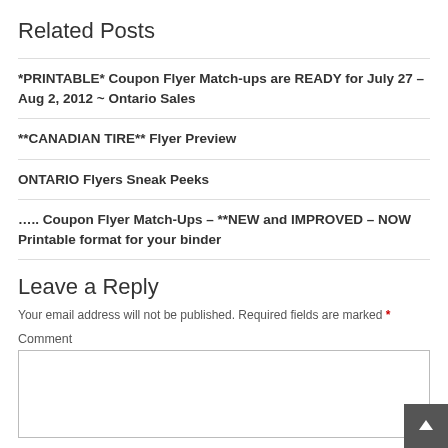Related Posts
*PRINTABLE* Coupon Flyer Match-ups are READY for July 27 – Aug 2, 2012 ~ Ontario Sales
**CANADIAN TIRE** Flyer Preview
ONTARIO Flyers Sneak Peeks
….. Coupon Flyer Match-Ups – **NEW and IMPROVED – NOW Printable format for your binder
Leave a Reply
Your email address will not be published. Required fields are marked *
Comment